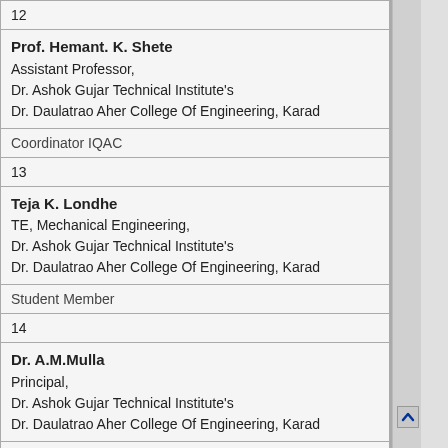| 12 |  |
| Prof. Hemant. K. Shete
Assistant Professor,
Dr. Ashok Gujar Technical Institute's
Dr. Daulatrao Aher College Of Engineering, Karad |  |
| Coordinator IQAC |  |
| 13 |  |
| Teja K. Londhe
TE, Mechanical Engineering,
Dr. Ashok Gujar Technical Institute's
Dr. Daulatrao Aher College Of Engineering, Karad |  |
| Student Member |  |
| 14 |  |
| Dr. A.M.Mulla
Principal,
Dr. Ashok Gujar Technical Institute's
Dr. Daulatrao Aher College Of Engineering, Karad |  |
| Member Secretary |  |